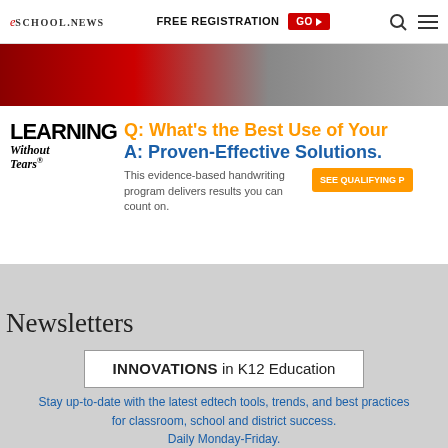eSchoolNews | FREE REGISTRATION GO | Search | Menu
[Figure (photo): Partial banner advertisement image with red and gray tones]
[Figure (infographic): Learning Without Tears advertisement: Q: What's the Best Use of Your... A: Proven-Effective Solutions. This evidence-based handwriting program delivers results you can count on. SEE QUALIFYING P...]
Newsletters
INNOVATIONS in K12 Education
Stay up-to-date with the latest edtech tools, trends, and best practices for classroom, school and district success. Daily Monday-Friday.